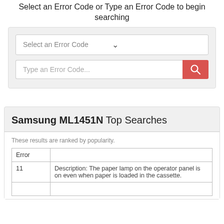Select an Error Code or Type an Error Code to begin searching
[Figure (screenshot): UI search panel with a dropdown labeled 'Select an Error Code' and a text input 'Type an Error Code...' with a red search button]
Samsung ML1451N Top Searches
These results are ranked by popularity.
| Error |  |
| --- | --- |
| 11 | Description: The paper lamp on the operator panel is on even when paper is loaded in the cassette. |
|  |  |